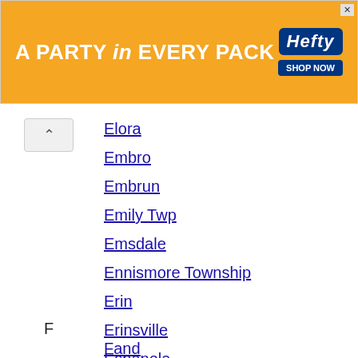[Figure (other): Hefty brand advertisement banner: orange background with text 'A PARTY in EVERY PACK', Hefty logo on right with 'SHOP NOW' button]
Elora
Embro
Embrun
Emily Twp
Emsdale
Ennismore Township
Erin
Erinsville
Espanola
Essa
Essex
Exeter
F
Fand...